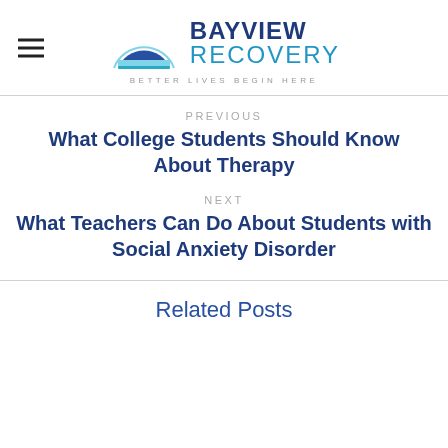BAYVIEW RECOVERY — BETTER LIVES BEGIN HERE
PREVIOUS
What College Students Should Know About Therapy
NEXT
What Teachers Can Do About Students with Social Anxiety Disorder
Related Posts